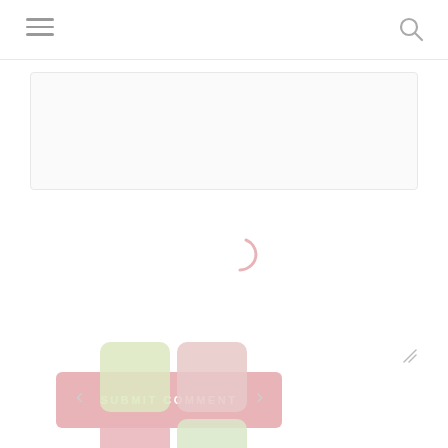Navigation header with hamburger menu and search icon
[Figure (screenshot): Empty textarea input box with resize handle in bottom right corner]
[Figure (screenshot): Pink 'SUBMIT COMMENT' button with a loading spinner arc partially visible at the bottom right]
[Figure (illustration): 2x2 grid of rounded square tiles in pastel colors: light green, light pink (top row), light pink/rose, light green (bottom row), with navigation arrows on left and right sides]